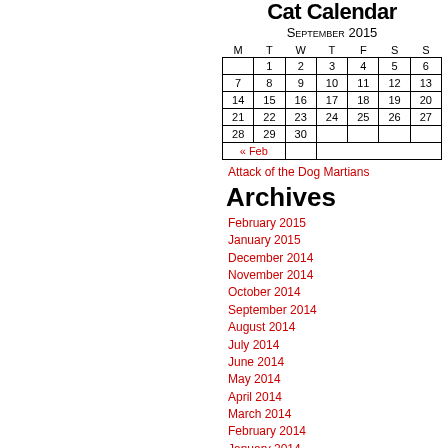Cat Calendar
September 2015
| M | T | W | T | F | S | S |
| --- | --- | --- | --- | --- | --- | --- |
|  | 1 | 2 | 3 | 4 | 5 | 6 |
| 7 | 8 | 9 | 10 | 11 | 12 | 13 |
| 14 | 15 | 16 | 17 | 18 | 19 | 20 |
| 21 | 22 | 23 | 24 | 25 | 26 | 27 |
| 28 | 29 | 30 |  |  |  |  |
| « Feb |  |  |  |  |  |  |
Attack of the Dog Martians
Archives
February 2015
January 2015
December 2014
November 2014
October 2014
September 2014
August 2014
July 2014
June 2014
May 2014
April 2014
March 2014
February 2014
January 2014
December 2013
November 2013